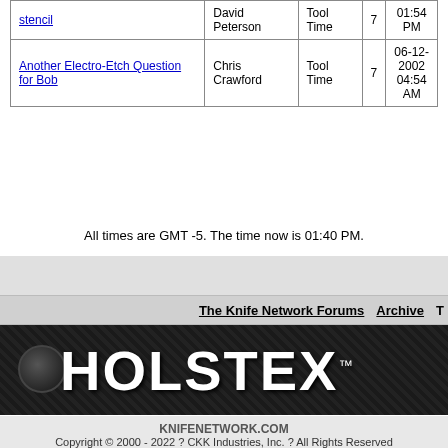| Thread | Author | Forum | Replies | Last Post |
| --- | --- | --- | --- | --- |
| [link] stencil | David Peterson | Tool Time | 7 | 01:54 PM |
| Another Electro-Etch Question for Bob | Chris Crawford | Tool Time | 7 | 06-12-2002 04:54 AM |
All times are GMT -5. The time now is 01:40 PM.
The Knife Network Forums  Archive  T
[Figure (photo): HOLSTEX logo banner on dark carbon fiber textured background]
KNIFENETWORK.COM
Copyright © 2000 - 2022 ? CKK Industries, Inc. ? All Rights Reserved
Powered by vBulletin® Version 3.8.4
Copyright ©2000 - 2022, Jelsoft Enterprises Ltd.
The Knife Network · All Rights Reserved